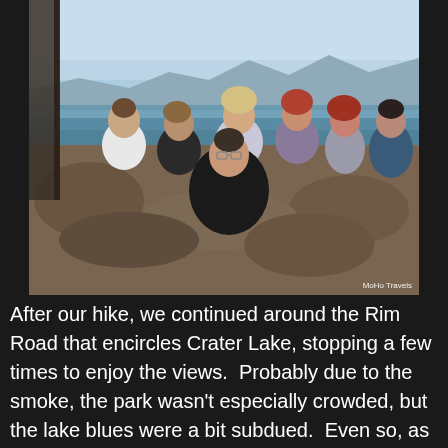[Figure (photo): Group photo of approximately seven people (one seated in front, five or six behind) sitting on rocks at a high viewpoint overlooking Crater Lake. The sky is light blue and hazy, with mountains visible in the background. A watermark reading 'MoHo Travels' appears in the lower right corner.]
After our hike, we continued around the Rim Road that encircles Crater Lake, stopping a few times to enjoy the views.  Probably due to the smoke, the park wasn't especially crowded, but the lake blues were a bit subdued.  Even so, as I looked at the lake, I wondered out loud to Mo, “We live here, why don’t we visit this park more often!?”  I promised myself more Crater Lake hikes in the